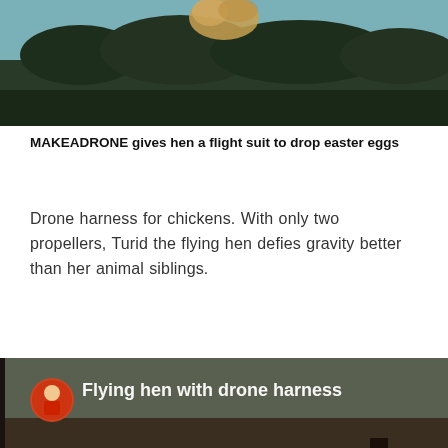[Figure (photo): Top portion of a photo showing a hen/chicken flying or being lifted in the air with drone equipment, trees visible in background against a blue-grey sky]
MAKEADRONE gives hen a flight suit to drop easter eggs
Drone harness for chickens. With only two propellers, Turid the flying hen defies gravity better than her animal siblings.
[Figure (screenshot): YouTube video thumbnail showing a white chicken with drone harness on the ground outdoors in a snowy/grassy field. Video title reads 'Flying hen with drone harness'. A YouTube play button (red circle with white triangle) is centered on the thumbnail. A small circular avatar is visible in the top-left corner.]